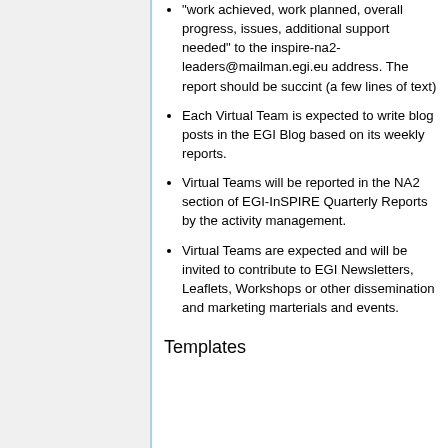"work achieved, work planned, overall progress, issues, additional support needed" to the inspire-na2-leaders@mailman.egi.eu address. The report should be succint (a few lines of text)
Each Virtual Team is expected to write blog posts in the EGI Blog based on its weekly reports.
Virtual Teams will be reported in the NA2 section of EGI-InSPIRE Quarterly Reports by the activity management.
Virtual Teams are expected and will be invited to contribute to EGI Newsletters, Leaflets, Workshops or other dissemination and marketing marterials and events.
Templates